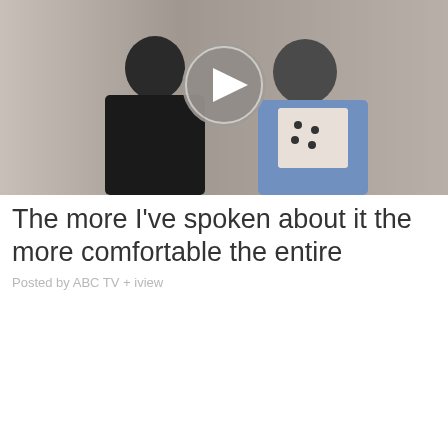[Figure (photo): A video thumbnail showing two people sitting side by side against a light textured background. On the left is a young man in a black t-shirt with hands clasped. On the right is a woman in a denim jacket over a white top with black polka dots, wearing a necklace. A circular play button icon is overlaid in the center.]
The more I've spoken about it the more comfortable the entire
Posted by ABC TV + iview